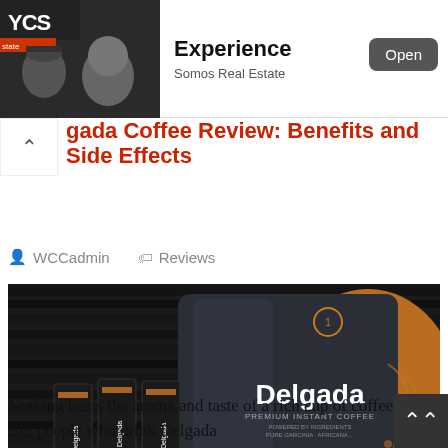[Figure (screenshot): App store advertisement banner for 'Experience' by Somos Real Estate, showing two men and an Open button]
gada Coffee Review: Benefits and Side Effects
WCCadmin   Reviews
[Figure (photo): Delgada Premium Instant Coffee product photo showing a dark bag with orange accents and individual stick packets in front]
Nothing beats the aroma and taste of a rich cup of coffee. But people who drink Delgada